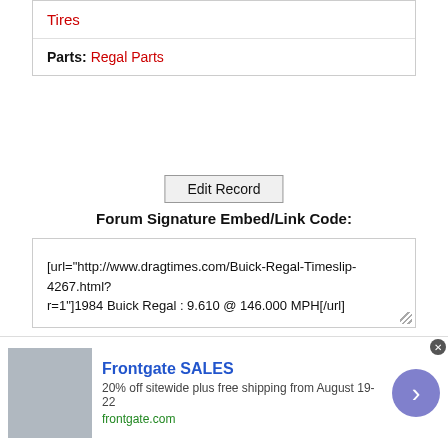Tires
Parts: Regal Parts
Edit Record
Forum Signature Embed/Link Code:
[url="http://www.dragtimes.com/Buick-Regal-Timeslip-4267.html?r=1"]1984 Buick Regal : 9.610 @ 146.000 MPH[/url]
Add this code to your signature on any car discussion forum, each time someone clicks on your link* you will receive an entry to
[Figure (other): Advertisement banner for Frontgate SALES - 20% off sitewide plus free shipping from August 19-22, frontgate.com, with outdoor furniture image and navigation arrow button]